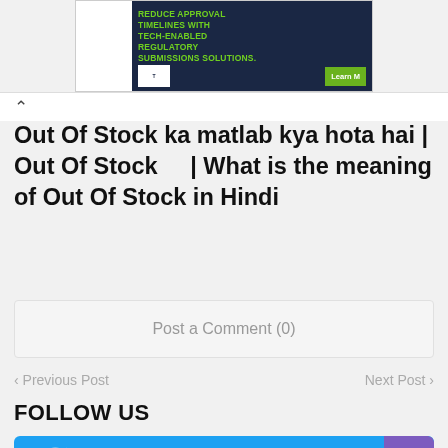[Figure (other): Advertisement banner: 'REDUCE APPROVAL TIMELINES WITH TECH-ENABLED REGULATORY SUBMISSIONS SOLUTIONS.' with logo and 'Learn M' button on green background]
Out Of Stock ka matlab kya hota hai | Out Of Stock    | What is the meaning of Out Of Stock in Hindi
Post a Comment (0)
< Previous Post
Next Post >
FOLLOW US
Twitter